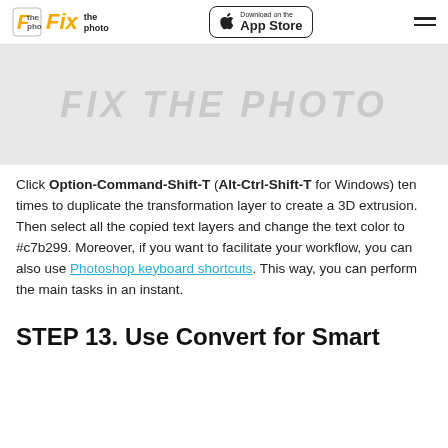Fix the photo | Download on the App Store
[Figure (screenshot): Hero image placeholder with watermark text 'FIX THE PHOTO' on a light gray background]
Click Option-Command-Shift-T (Alt-Ctrl-Shift-T for Windows) ten times to duplicate the transformation layer to create a 3D extrusion. Then select all the copied text layers and change the text color to #c7b299. Moreover, if you want to facilitate your workflow, you can also use Photoshop keyboard shortcuts. This way, you can perform the main tasks in an instant.
STEP 13. Use Convert for Smart